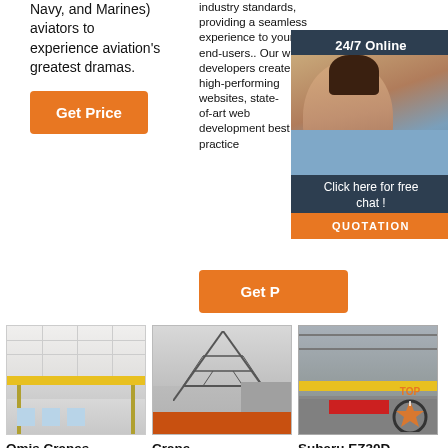Navy, and Marines) aviators to experience aviation's greatest dramas.
industry standards, providing a seamless experience to your end-users.. Our web developers create high-performing websites, state-of-art web development best practice
Get Price
[Figure (photo): 24/7 online chat popup with woman wearing headset, dark navy background, orange QUOTATION button]
Get P...
[Figure (photo): Interior of industrial building with yellow overhead crane]
[Figure (photo): Large steel crane structure under construction outdoors]
[Figure (photo): Interior industrial facility with yellow overhead bridge crane]
Omis Cranes - Dlik Baamalisk Bl
Crane Manufacturing...
Subaru EZ30D Engine...